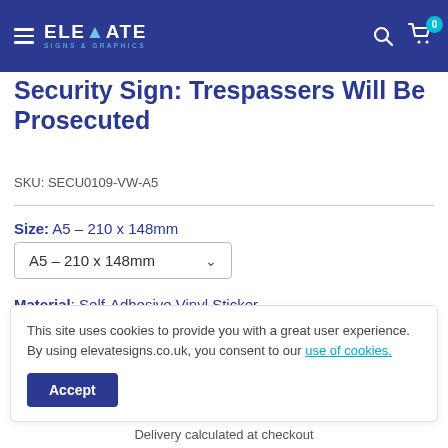ELEVATE SIGNS & GRAPHICS — navigation bar with hamburger menu, search, and cart (0 items)
Security Sign: Trespassers Will Be Prosecuted
SKU: SECU0109-VW-A5
Size: A5 – 210 x 148mm
A5 – 210 x 148mm (dropdown)
Material: Self-Adhesive Vinyl Sticker
This site uses cookies to provide you with a great user experience. By using elevatesigns.co.uk, you consent to our use of cookies.
Accept
Delivery calculated at checkout